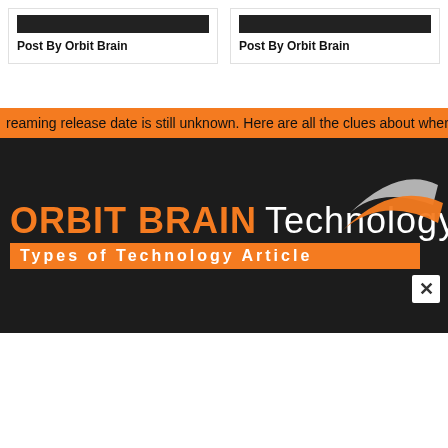Post By Orbit Brain
Post By Orbit Brain
reaming release date is still unknown. Here are all the clues about wher
[Figure (logo): Orbit Brain Technology logo with swoosh graphic on dark background, orange bold ORBIT BRAIN text, white Technology text, and orange tagline bar reading Types of Technology Article]
Types of Technology Article